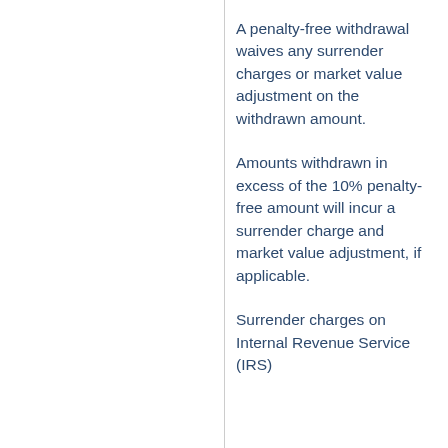A penalty-free withdrawal waives any surrender charges or market value adjustment on the withdrawn amount.
Amounts withdrawn in excess of the 10% penalty-free amount will incur a surrender charge and market value adjustment, if applicable.
Surrender charges on Internal Revenue Service (IRS)